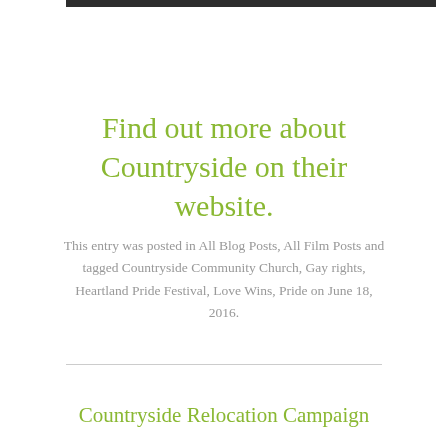[Figure (other): Dark horizontal bar at the top of the page]
Find out more about Countryside on their website.
This entry was posted in All Blog Posts, All Film Posts and tagged Countryside Community Church, Gay rights, Heartland Pride Festival, Love Wins, Pride on June 18, 2016.
Countryside Relocation Campaign